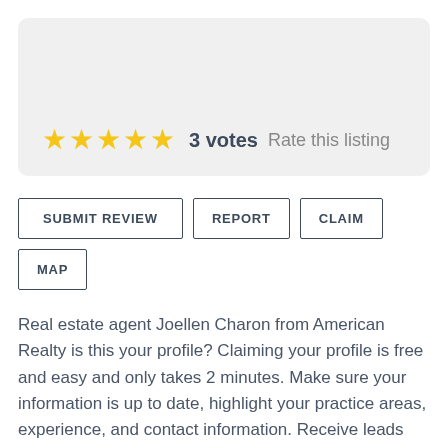★★★★★  3 votes  Rate this listing
SUBMIT REVIEW  REPORT  CLAIM  MAP
Real estate agent Joellen Charon from American Realty is this your profile? Claiming your profile is free and easy and only takes 2 minutes. Make sure your information is up to date, highlight your practice areas, experience, and contact information. Receive leads and respond to reviews, add more detailed information